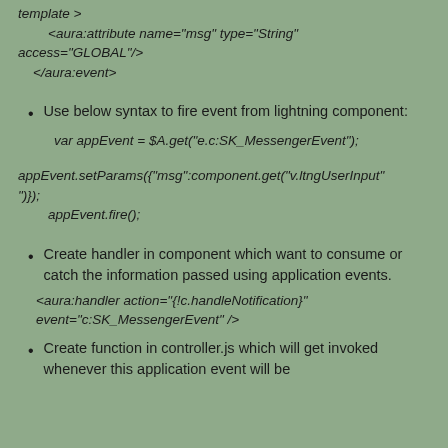template >
    <aura:attribute name="msg" type="String" access="GLOBAL"/>
    </aura:event>
Use below syntax to fire event from lightning component:
var appEvent = $A.get("e.c:SK_MessengerEvent");
appEvent.setParams({"msg":component.get("v.ltngUserInput")});
        appEvent.fire();
Create handler in component which want to consume or catch the information passed using application events.
<aura:handler action="{!c.handleNotification}" event="c:SK_MessengerEvent" />
Create function in controller.js which will get invoked whenever this application event will be